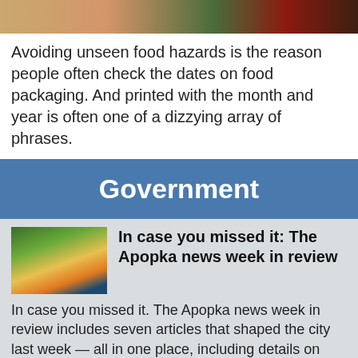[Figure (photo): Top portion of food-related photo showing grains/snacks and colorful food items]
Avoiding unseen food hazards is the reason people often check the dates on food packaging. And printed with the month and year is often one of a dizzying array of phrases.
Government
[Figure (photo): Thumbnail photo of a park or outdoor scene with trees and a building at dusk]
In case you missed it: The Apopka news week in review
In case you missed it. The Apopka news week in review includes seven articles that shaped the city last week — all in one place, including details on